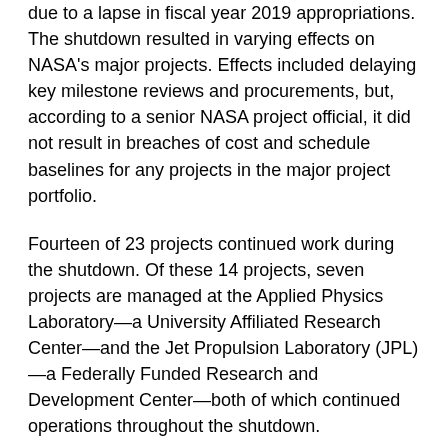due to a lapse in fiscal year 2019 appropriations. The shutdown resulted in varying effects on NASA's major projects. Effects included delaying key milestone reviews and procurements, but, according to a senior NASA project official, it did not result in breaches of cost and schedule baselines for any projects in the major project portfolio.
Fourteen of 23 projects continued work during the shutdown. Of these 14 projects, seven projects are managed at the Applied Physics Laboratory—a University Affiliated Research Center—and the Jet Propulsion Laboratory (JPL)—a Federally Funded Research and Development Center—both of which continued operations throughout the shutdown.
NASA granted exceptions to the remaining seven projects to continue work, but not all projects received immediate exceptions and officials stated that there were still effects from the shutdown.
For example, Landsat 9 was granted an exception